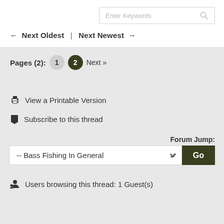Enter Keywords [search icon]
← Next Oldest  |  Next Newest →
Pages (2):  1  2  Next »
View a Printable Version
Subscribe to this thread
Forum Jump:
-- Bass Fishing In General  Go
Users browsing this thread: 1 Guest(s)